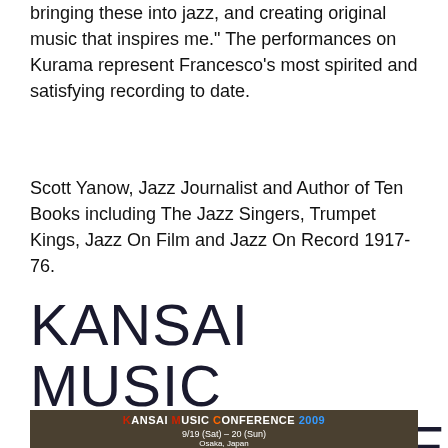bringing these into jazz, and creating original music that inspires me." The performances on Kurama represent Francesco's most spirited and satisfying recording to date.
Scott Yanow, Jazz Journalist and Author of Ten Books including The Jazz Singers, Trumpet Kings, Jazz On Film and Jazz On Record 1917-76.
KANSAI MUSIC CONFERENCE
[Figure (photo): Photo of Kansai Music Conference 2009 signage showing the event dates 9/19 (Sat) – 20 (Sun), Osaka, Japan, www.kansaimusicconference.com]